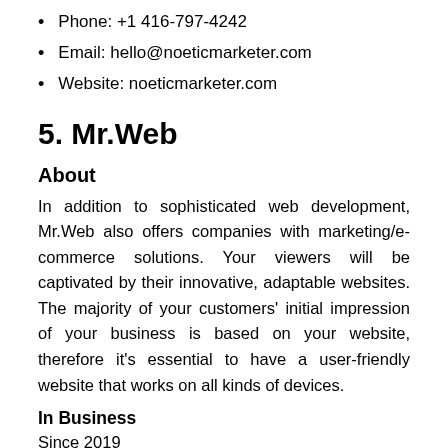Phone: +1 416-797-4242
Email: hello@noeticmarketer.com
Website: noeticmarketer.com
5. Mr.Web
About
In addition to sophisticated web development, Mr.Web also offers companies with marketing/e-commerce solutions. Your viewers will be captivated by their innovative, adaptable websites. The majority of your customers' initial impression of your business is based on your website, therefore it's essential to have a user-friendly website that works on all kinds of devices.
In Business
Since 2019